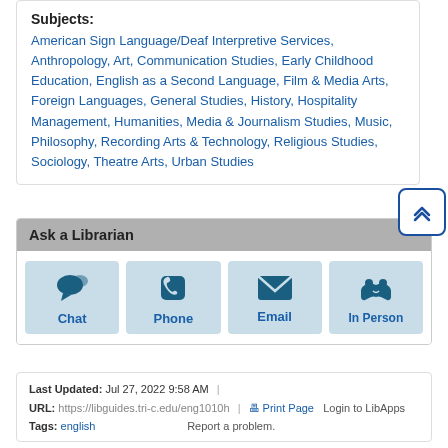Subjects: American Sign Language/Deaf Interpretive Services, Anthropology, Art, Communication Studies, Early Childhood Education, English as a Second Language, Film & Media Arts, Foreign Languages, General Studies, History, Hospitality Management, Humanities, Media & Journalism Studies, Music, Philosophy, Recording Arts & Technology, Religious Studies, Sociology, Theatre Arts, Urban Studies
[Figure (infographic): Back to top button with double chevron up icon]
Ask a Librarian
[Figure (infographic): Four contact option buttons: Chat (speech bubble icon), Phone (phone icon), Email (envelope icon), In Person (handshake icon)]
Last Updated: Jul 27, 2022 9:58 AM | URL: https://libguides.tri-c.edu/eng1010h | Print Page | Login to LibApps | Tags: english | Report a problem.